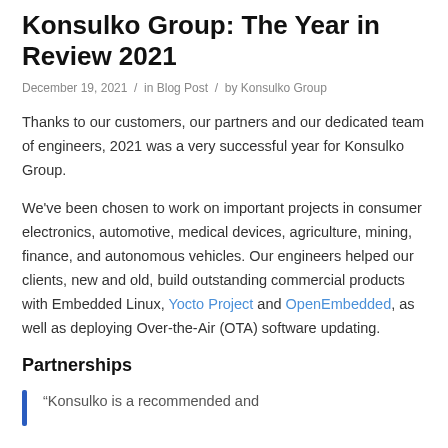Konsulko Group: The Year in Review 2021
December 19, 2021 / in Blog Post / by Konsulko Group
Thanks to our customers, our partners and our dedicated team of engineers, 2021 was a very successful year for Konsulko Group.
We've been chosen to work on important projects in consumer electronics, automotive, medical devices, agriculture, mining, finance, and autonomous vehicles. Our engineers helped our clients, new and old, build outstanding commercial products with Embedded Linux, Yocto Project and OpenEmbedded, as well as deploying Over-the-Air (OTA) software updating.
Partnerships
“Konsulko is a recommended and